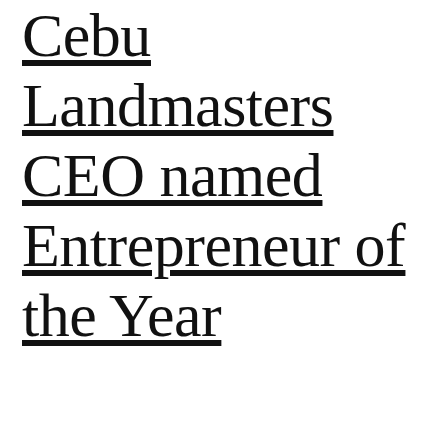Cebu Landmasters CEO named Entrepreneur of the Year